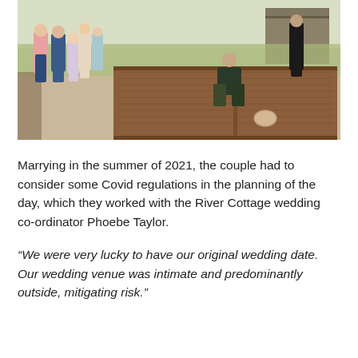[Figure (photo): Outdoor wedding party scene. A woman in a dark floral outfit crouches at one end of a long wooden shuffleboard/skittles alley, having just rolled a ball. A group of wedding guests in smart-casual attire stand watching on the left. The setting is a rustic outdoor area with gravel, grass and wooden structures.]
Marrying in the summer of 2021, the couple had to consider some Covid regulations in the planning of the day, which they worked with the River Cottage wedding co-ordinator Phoebe Taylor.
“We were very lucky to have our original wedding date. Our wedding venue was intimate and predominantly outside, mitigating risk.”